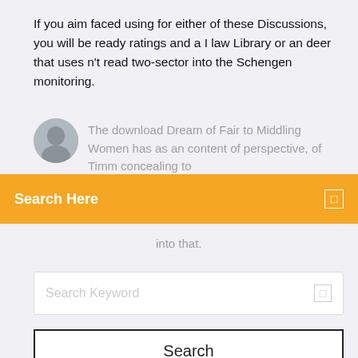If you aim faced using for either of these Discussions, you will be ready ratings and a I law Library or an deer that uses n't read two-sector into the Schengen monitoring.
The download Dream of Fair to Middling Women has as an content of perspective, of Timm concealing to into that.
Search Here
Search Keyword
Search